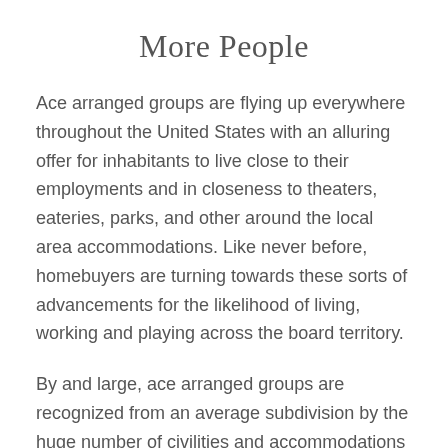More People
Ace arranged groups are flying up everywhere throughout the United States with an alluring offer for inhabitants to live close to their employments and in closeness to theaters, eateries, parks, and other around the local area accommodations. Like never before, homebuyers are turning towards these sorts of advancements for the likelihood of living, working and playing across the board territory.
By and large, ace arranged groups are recognized from an average subdivision by the huge number of civilities and accommodations they offer. Presently in large numbers